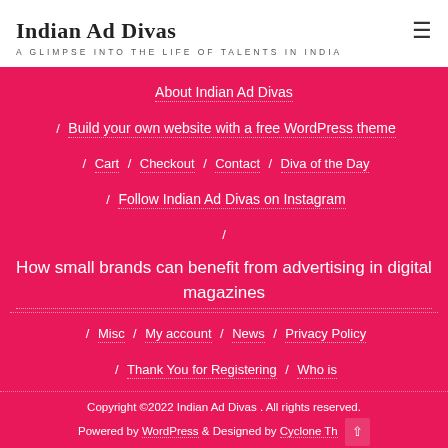Indian Ad Divas
A GLIMPSE INTO THE LIFE OF TALENTS IN INDIA
About Indian Ad Divas
/ Build your own website with a free WordPress theme
/ Cart / Checkout / Contact / Diva of the Day
/ Follow Indian Ad Divas on Instagram
/
How small brands can benefit from advertising in digital magazines
/ Misc / My account / News / Privacy Policy
/ Thank You for Registering / Who is
Copyright ©2022 Indian Ad Divas . All rights reserved.
Powered by WordPress & Designed by Cyclone Th